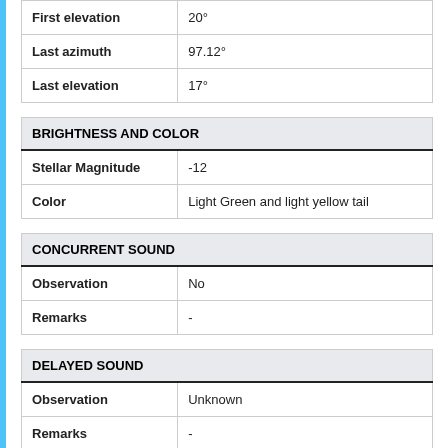|  |  |
| --- | --- |
| First elevation | 20° |
| Last azimuth | 97.12° |
| Last elevation | 17° |
BRIGHTNESS AND COLOR
|  |  |
| --- | --- |
| Stellar Magnitude | -12 |
| Color | Light Green and light yellow tail |
CONCURRENT SOUND
|  |  |
| --- | --- |
| Observation | No |
| Remarks | - |
DELAYED SOUND
|  |  |
| --- | --- |
| Observation | Unknown |
| Remarks | - |